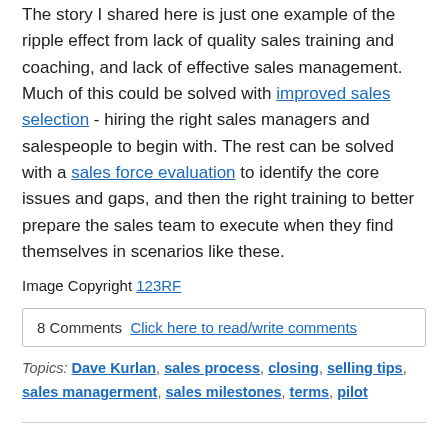The story I shared here is just one example of the ripple effect from lack of quality sales training and coaching, and lack of effective sales management.  Much of this could be solved with improved sales selection - hiring the right sales managers and salespeople to begin with.  The rest can be solved with a sales force evaluation to identify the core issues and gaps, and then the right training to better prepare the sales team to execute when they find themselves in scenarios like these.
Image Copyright 123RF
8 Comments  Click here to read/write comments
Topics: Dave Kurlan, sales process, closing, selling tips, sales managerment, sales milestones, terms, pilot